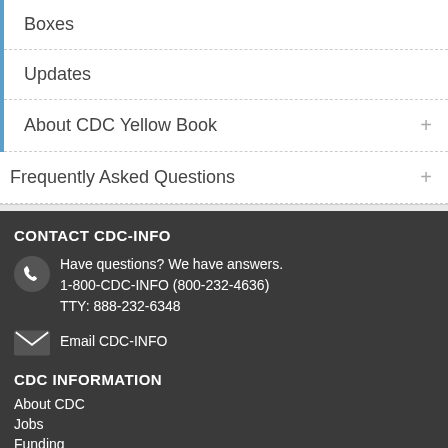Boxes
Updates
About CDC Yellow Book
Frequently Asked Questions
CONTACT CDC-INFO
Have questions? We have answers.
1-800-CDC-INFO (800-232-4636)
TTY: 888-232-6348
Email CDC-INFO
CDC INFORMATION
About CDC
Jobs
Funding